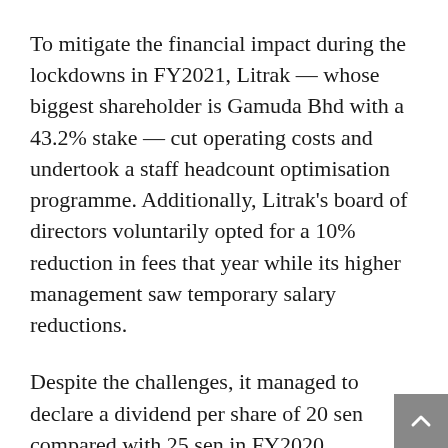To mitigate the financial impact during the lockdowns in FY2021, Litrak — whose biggest shareholder is Gamuda Bhd with a 43.2% stake — cut operating costs and undertook a staff headcount optimisation programme. Additionally, Litrak's board of directors voluntarily opted for a 10% reduction in fees that year while its higher management saw temporary salary reductions.
Despite the challenges, it managed to declare a dividend per share of 20 sen compared with 25 sen in FY2020.
Going forward, barring any more unexpected lockdowns, Litrak's prospects look brighter now